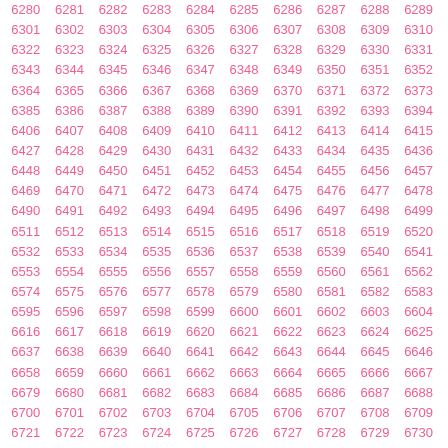| 6280 | 6281 | 6282 | 6283 | 6284 | 6285 | 6286 | 6287 | 6288 | 6289 | … |
| 6301 | 6302 | 6303 | 6304 | 6305 | 6306 | 6307 | 6308 | 6309 | 6310 | 6… |
| 6322 | 6323 | 6324 | 6325 | 6326 | 6327 | 6328 | 6329 | 6330 | 6331 | 6… |
| 6343 | 6344 | 6345 | 6346 | 6347 | 6348 | 6349 | 6350 | 6351 | 6352 | 6… |
| 6364 | 6365 | 6366 | 6367 | 6368 | 6369 | 6370 | 6371 | 6372 | 6373 | 6… |
| 6385 | 6386 | 6387 | 6388 | 6389 | 6390 | 6391 | 6392 | 6393 | 6394 | 6… |
| 6406 | 6407 | 6408 | 6409 | 6410 | 6411 | 6412 | 6413 | 6414 | 6415 | 6… |
| 6427 | 6428 | 6429 | 6430 | 6431 | 6432 | 6433 | 6434 | 6435 | 6436 | 6… |
| 6448 | 6449 | 6450 | 6451 | 6452 | 6453 | 6454 | 6455 | 6456 | 6457 | 6… |
| 6469 | 6470 | 6471 | 6472 | 6473 | 6474 | 6475 | 6476 | 6477 | 6478 | 6… |
| 6490 | 6491 | 6492 | 6493 | 6494 | 6495 | 6496 | 6497 | 6498 | 6499 | 6… |
| 6511 | 6512 | 6513 | 6514 | 6515 | 6516 | 6517 | 6518 | 6519 | 6520 | 6… |
| 6532 | 6533 | 6534 | 6535 | 6536 | 6537 | 6538 | 6539 | 6540 | 6541 | 6… |
| 6553 | 6554 | 6555 | 6556 | 6557 | 6558 | 6559 | 6560 | 6561 | 6562 | 6… |
| 6574 | 6575 | 6576 | 6577 | 6578 | 6579 | 6580 | 6581 | 6582 | 6583 | 6… |
| 6595 | 6596 | 6597 | 6598 | 6599 | 6600 | 6601 | 6602 | 6603 | 6604 | 6… |
| 6616 | 6617 | 6618 | 6619 | 6620 | 6621 | 6622 | 6623 | 6624 | 6625 | 6… |
| 6637 | 6638 | 6639 | 6640 | 6641 | 6642 | 6643 | 6644 | 6645 | 6646 | 6… |
| 6658 | 6659 | 6660 | 6661 | 6662 | 6663 | 6664 | 6665 | 6666 | 6667 | 6… |
| 6679 | 6680 | 6681 | 6682 | 6683 | 6684 | 6685 | 6686 | 6687 | 6688 | 6… |
| 6700 | 6701 | 6702 | 6703 | 6704 | 6705 | 6706 | 6707 | 6708 | 6709 | 6… |
| 6721 | 6722 | 6723 | 6724 | 6725 | 6726 | 6727 | 6728 | 6729 | 6730 | 6… |
| 6742 | 6743 | 6744 | 6745 | 6746 | 6747 | 6748 | 6749 | 6750 | 6751 | 6… |
| 6763 | 6764 | 6765 | 6766 | 6767 | 6768 | 6769 | 6770 | 6771 | 6772 | 6… |
| 6784 | 6785 | 6786 | 6787 | 6788 | 6789 | 6790 | 6791 | 6792 | 6793 | 6… |
| 6805 | 6806 | 6807 | 6808 | 6809 | 6810 | 6811 | 6812 | 6813 | 6814 | 6… |